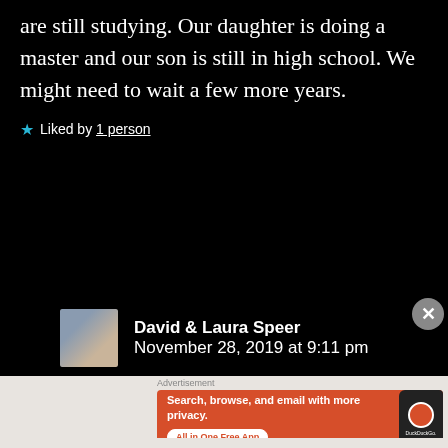are still studying. Our daughter is doing a master and our son is still in high school. We might need to wait a few more years.
★ Liked by 1 person
David & Laura Speer
November 28, 2019 at 9:11 pm
[Figure (infographic): DuckDuckGo advertisement banner with orange background, text 'Search, browse, and email with more privacy. All in One Free App' and a phone graphic showing DuckDuckGo logo.]